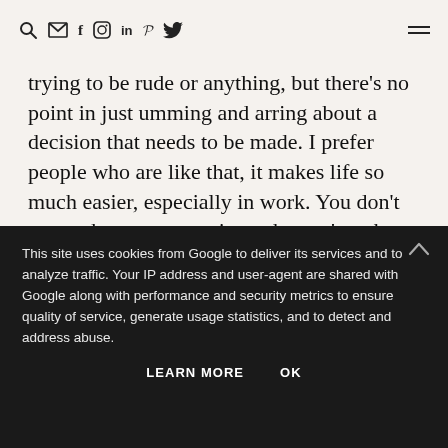🔍 ✉ f 🔲 in P 🐦 ≡
trying to be rude or anything, but there's no point in just umming and arring about a decision that needs to be made. I prefer people who are like that, it makes life so much easier, especially in work. You don't want a boss or supervisor who can't make a decision, it effects everybody else.
WE'RE
NOT
EASILY
This site uses cookies from Google to deliver its services and to analyze traffic. Your IP address and user-agent are shared with Google along with performance and security metrics to ensure quality of service, generate usage statistics, and to detect and address abuse.
principles and values, I won't be for it. It doesn't mean I'm being self-centred, it's just that I won't go